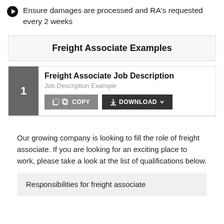Ensure damages are processed and RA's requested every 2 weeks
Freight Associate Examples
Freight Associate Job Description
Job Description Example
[COPY] [DOWNLOAD]
Our growing company is looking to fill the role of freight associate. If you are looking for an exciting place to work, please take a look at the list of qualifications below.
Responsibilities for freight associate